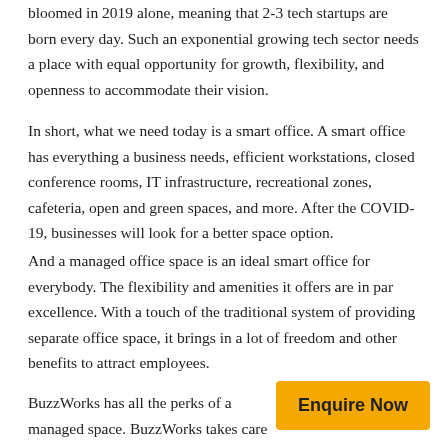bloomed in 2019 alone, meaning that 2-3 tech startups are born every day. Such an exponential growing tech sector needs a place with equal opportunity for growth, flexibility, and openness to accommodate their vision.
In short, what we need today is a smart office. A smart office has everything a business needs, efficient workstations, closed conference rooms, IT infrastructure, recreational zones, cafeteria, open and green spaces, and more. After the COVID-19, businesses will look for a better space option.
And a managed office space is an ideal smart office for everybody. The flexibility and amenities it offers are in par excellence. With a touch of the traditional system of providing separate office space, it brings in a lot of freedom and other benefits to attract employees.
BuzzWorks has all the perks of a managed space. BuzzWorks takes care of all the needs of the offices acco... The offices are providing better...
Enquire Now